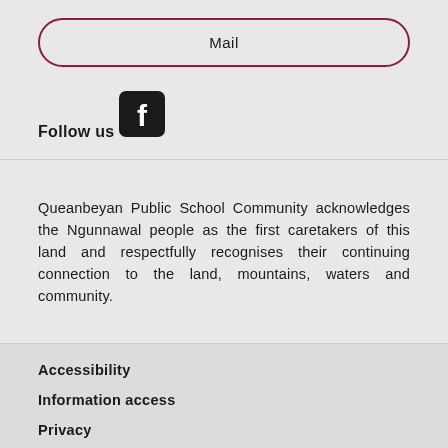Mail
Follow us
[Figure (logo): Facebook icon - white F on black rounded square background]
Queanbeyan Public School Community acknowledges the Ngunnawal people as the first caretakers of this land and respectfully recognises their continuing connection to the land, mountains, waters and community.
Accessibility
Information access
Privacy
Copyright